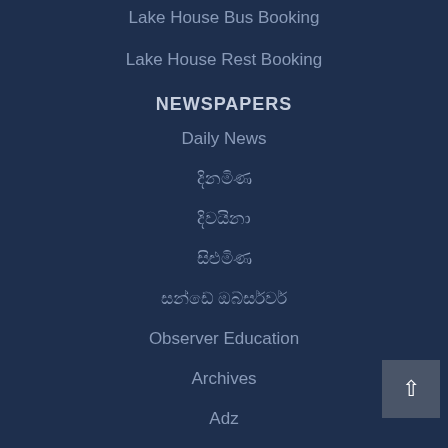Lake House Bus Booking
Lake House Rest Booking
NEWSPAPERS
Daily News
දිනමිණ
දිවයිනා
සිළුමිණ
සන්ඩේ ඔබ්සර්වර්
Observer Education
Archives
Adz
Observer Jobs